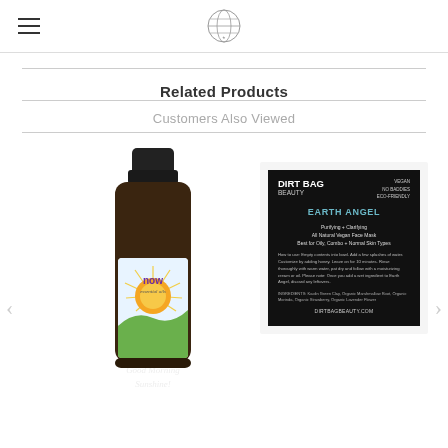[Logo: globe icon] [Hamburger menu]
Related Products
Customers Also Viewed
[Figure (photo): NOW Essential Oils bottle - Good Morning Sunshine! product with sun graphic]
[Figure (photo): Dirt Bag Beauty Earth Angel face mask product card - black card with product details, VEGAN NO BADDIES ECO-FRIENDLY, EARTH ANGEL, Purifying + Clarifying All Natural Vegan Face Mask, Best for Oily, Combo + Normal Skin Types, dirtbagbeauty.com]